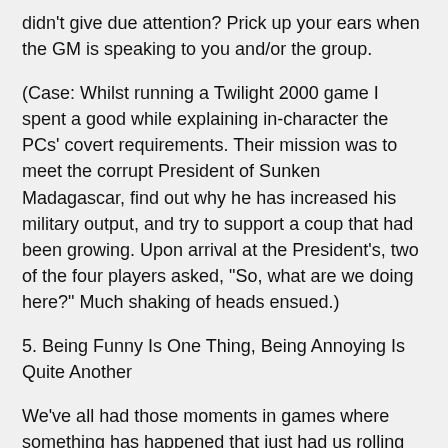didn't give due attention? Prick up your ears when the GM is speaking to you and/or the group.
(Case: Whilst running a Twilight 2000 game I spent a good while explaining in-character the PCs' covert requirements. Their mission was to meet the corrupt President of Sunken Madagascar, find out why he has increased his military output, and try to support a coup that had been growing. Upon arrival at the President's, two of the four players asked, "So, what are we doing here?" Much shaking of heads ensued.)
5. Being Funny Is One Thing, Being Annoying Is Quite Another
We've all had those moments in games where something has happened that just had us rolling on the floor. There's always comments and events which elicit a laugh or a chuckle from the players and GM alike. These are good moments, especially during a non-serious game, and can be great fun. But let's not overdo it, eh? Continuous jokes and remarks, especially during a serious game, can be a little